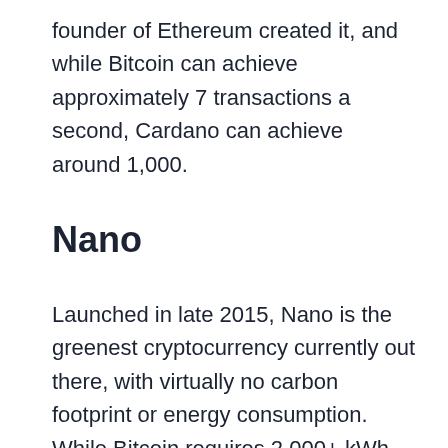founder of Ethereum created it, and while Bitcoin can achieve approximately 7 transactions a second, Cardano can achieve around 1,000.
Nano
Launched in late 2015, Nano is the greenest cryptocurrency currently out there, with virtually no carbon footprint or energy consumption. While Bitcoin requires 2,000+ kWh per transaction, Nano requires a minuscule 0.00011 kWh of power per transaction. For every Bitcoin transaction, the same amount of energy could power almost 20M Nano transactions. This is all because each address on